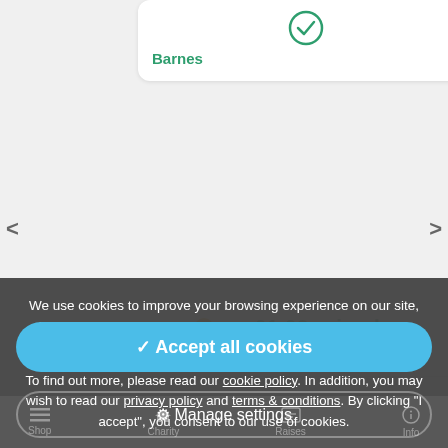[Figure (screenshot): Partial charity card showing checkmark icon and charity name 'Barnes' in green]
[Figure (screenshot): Act4Africa charity card showing logo and '£1.09 raised for Act4Africa' in green]
We use cookies to improve your browsing experience on our site, show personalised content and targeted ads, analyse site traffic, and understand where our members are coming from.
To find out more, please read our cookie policy. In addition, you may wish to read our privacy policy and terms & conditions. By clicking "I accept", you consent to our use of cookies.
✓ Accept all cookies
⚙ Manage settings